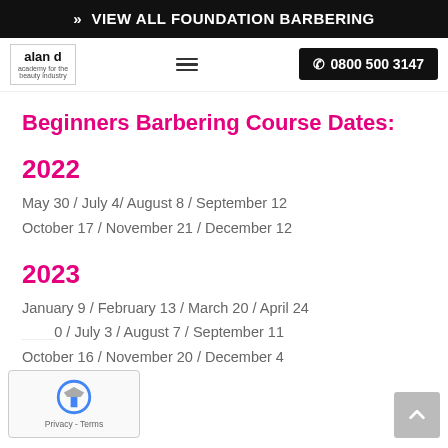>> VIEW ALL FOUNDATION BARBERING
[Figure (logo): alan d academy logo with navigation bar and phone number 0800 500 3147]
Beginners Barbering Course Dates:
2022
May 30 / July 4/ August 8 / September 12
October 17 / November 21 / December 12
2023
January 9 / February 13 / March 20 / April 24
...0 / July 3 / August 7 / September 11
October 16 / November 20 / December 4